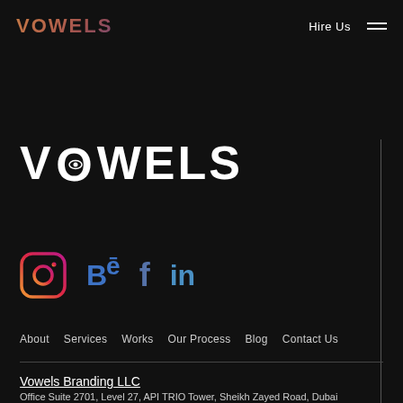[Figure (logo): VOWELS logo in gradient copper/rose color, top left nav]
Hire Us
[Figure (logo): Large VOWELS logo in white with stylized O containing eye/circle motif]
[Figure (infographic): Social media icons row: Instagram (gradient), Behance (blue), Facebook (blue-grey), LinkedIn (blue)]
About   Services   Works   Our Process   Blog   Contact Us
Vowels Branding LLC
Office Suite 2701, Level 27, API TRIO Tower, Sheikh Zayed Road, Dubai